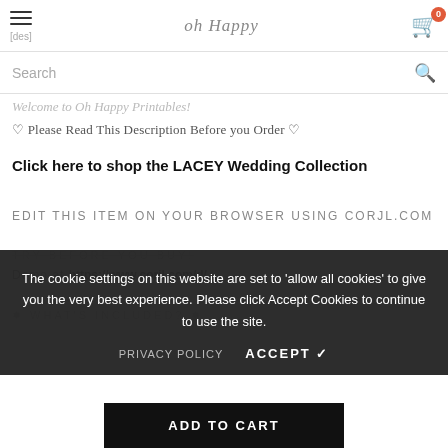[des] Oh Happy Printables 0
Search
Welcome to Oh Happy Printables!
♡ Please Read This Description Before you Order ♡
Click here to shop the LACEY Wedding Collection
EDIT THIS ITEM ON YOUR BROWSER USING CORJL.COM
TRY BEFORE YOU BUY!
Demo at https://www.corjl.com/...
✿ WHAT'S INCLUDED? ✿
The cookie settings on this website are set to 'allow all cookies' to give you the very best experience. Please click Accept Cookies to continue to use the site.
PRIVACY POLICY   ACCEPT ✔
ADD TO CART